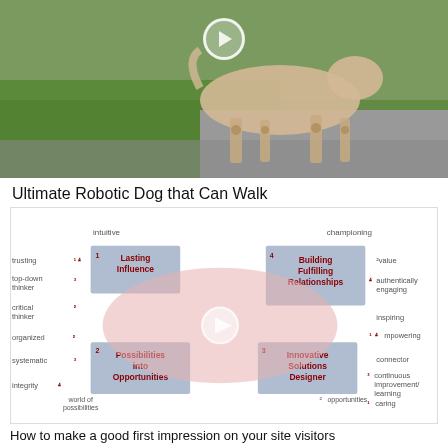[Figure (photo): Photo of a robotic dog with mechanical legs walking, with a play button overlay. Green grass and pavement visible.]
Ultimate Robotic Dog that Can Walk
[Figure (infographic): Quadrant-style infographic showing four labeled boxes: 1-Lasting Influence, 2-Possibilities into Opportunities, 3-Innovative Solutions Designer, 4-Building Fulfilling Relationships. Surrounding labels include: intuitive, trusting, top-down thinker, critical thinker, organized, systematic, integrity, world of possibilities, championing, value, authentically engaging, inspiring, empowering, connector, continuous improvement/learning, caring, opportunities. A large pink/rose ellipse overlays the center with a play button. Numbers 1-4 appear in corners and next to labels.]
How to make a good first impression on your site visitors